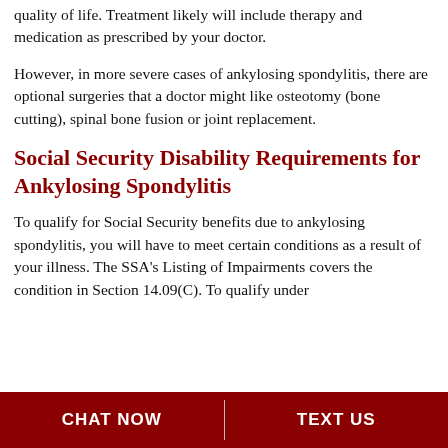quality of life. Treatment likely will include therapy and medication as prescribed by your doctor.
However, in more severe cases of ankylosing spondylitis, there are optional surgeries that a doctor might like osteotomy (bone cutting), spinal bone fusion or joint replacement.
Social Security Disability Requirements for Ankylosing Spondylitis
To qualify for Social Security benefits due to ankylosing spondylitis, you will have to meet certain conditions as a result of your illness. The SSA's Listing of Impairments covers the condition in Section 14.09(C). To qualify under
CHAT NOW   TEXT US